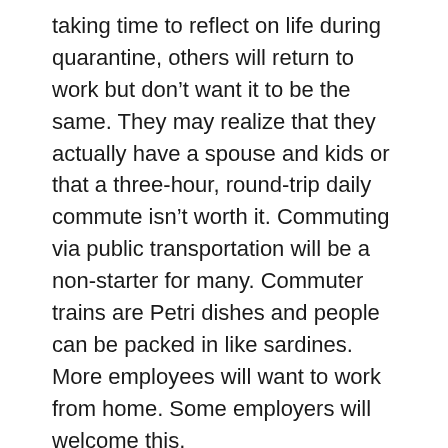taking time to reflect on life during quarantine, others will return to work but don't want it to be the same. They may realize that they actually have a spouse and kids or that a three-hour, round-trip daily commute isn't worth it. Commuting via public transportation will be a non-starter for many. Commuter trains are Petri dishes and people can be packed in like sardines. More employees will want to work from home. Some employers will welcome this.
Office space is expensive and reducing the lease payment will be attractive during the post-pandemic recovery. Frankly, a change toward telecommuting would do wonders for our government's budget. The federal government hasn't raised the fuel tax to pay for roads since